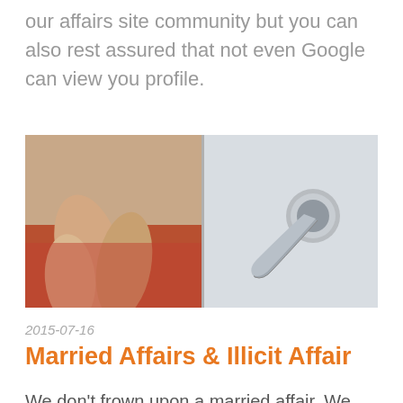our affairs site community but you can also rest assured that not even Google can view you profile.
[Figure (photo): Two-panel image: left panel shows intertwined legs/feet with red fabric, right panel shows a chrome door handle on a white door]
2015-07-16
Married Affairs & Illicit Affair
We don't frown upon a married affair. We completely understand that there are going to be times when someone just needs to do what feels good. Many women have even stated that they have had one night stands